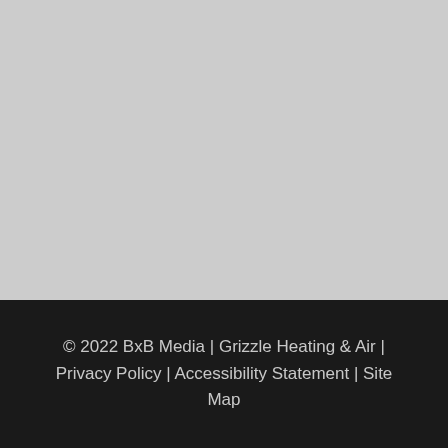[Figure (other): Large light gray blank area occupying the upper portion of the page]
© 2022 BxB Media | Grizzle Heating & Air | Privacy Policy | Accessibility Statement | Site Map